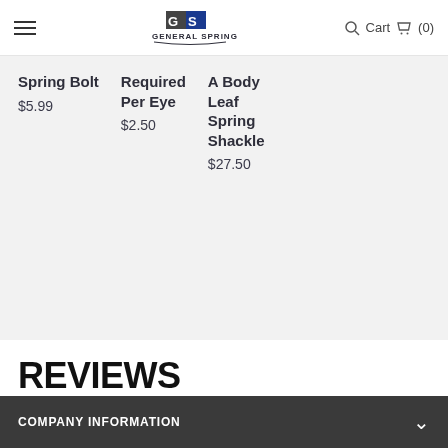General Spring — Cart (0)
Spring Bolt
$5.99
Required Per Eye
$2.50
A Body Leaf Spring Shackle
$27.50
REVIEWS
COMPANY INFORMATION